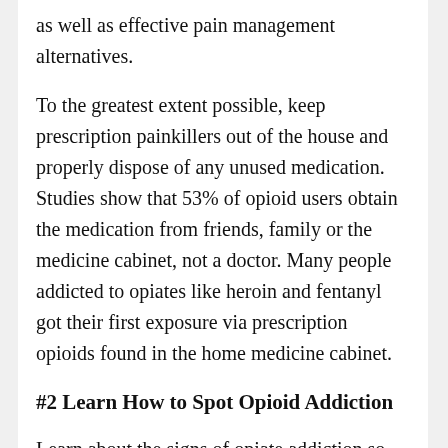as well as effective pain management alternatives.
To the greatest extent possible, keep prescription painkillers out of the house and properly dispose of any unused medication. Studies show that 53% of opioid users obtain the medication from friends, family or the medicine cabinet, not a doctor. Many people addicted to opiates like heroin and fentanyl got their first exposure via prescription opioids found in the home medicine cabinet.
#2 Learn How to Spot Opioid Addiction
Learn about the signs of opiate addiction so you know when to step in and help. These include